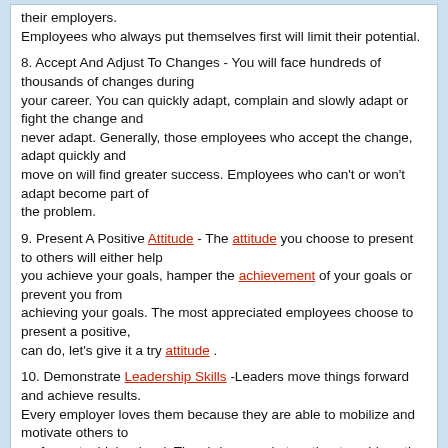their employers.
Employees who always put themselves first will limit their potential.
8. Accept And Adjust To Changes - You will face hundreds of thousands of changes during your career. You can quickly adapt, complain and slowly adapt or fight the change and never adapt. Generally, those employees who accept the change, adapt quickly and move on will find greater success. Employees who can't or won't adapt become part of the problem.
9. Present A Positive Attitude - The attitude you choose to present to others will either help you achieve your goals, hamper the achievement of your goals or prevent you from achieving your goals. The most appreciated employees choose to present a positive, can do, let's give it a try attitude .
10. Demonstrate Leadership Skills -Leaders move things forward and achieve results. Every employer loves them because they are able to mobilize and motivate others to perform at a higher level. They bring people together to achieve the goals that require teamwork, inspiration and exceptional performance.